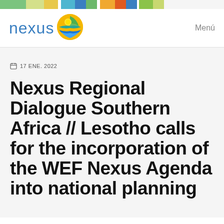[Figure (other): Top decorative color bar with multiple colored segments]
nexus  Menú
17 ENE. 2022
Nexus Regional Dialogue Southern Africa // Lesotho calls for the incorporation of the WEF Nexus Agenda into national planning